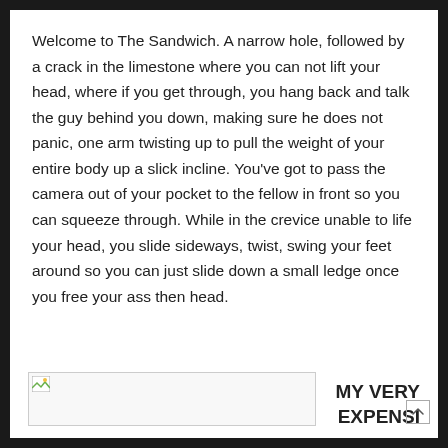Welcome to The Sandwich. A narrow hole, followed by a crack in the limestone where you can not lift your head, where if you get through, you hang back and talk the guy behind you down, making sure he does not panic, one arm twisting up to pull the weight of your entire body up a slick incline. You've got to pass the camera out of your pocket to the fellow in front so you can squeeze through. While in the crevice unable to life your head, you slide sideways, twist, swing your feet around so you can just slide down a small ledge once you free your ass then head.
[Figure (photo): A broken/missing image placeholder in the bottom bar]
MY VERY EXPENSI